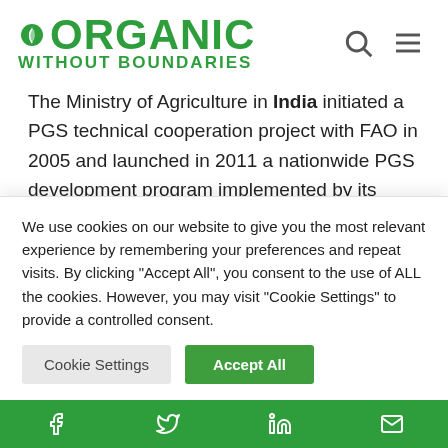[Figure (logo): Organic Without Boundaries logo — green leaf icon with ORGANIC in large bold green uppercase text, WITHOUT BOUNDARIES in smaller bold green uppercase text below]
The Ministry of Agriculture in India initiated a PGS technical cooperation project with FAO in 2005 and launched in 2011 a nationwide PGS development program implemented by its National Center for Organic Farming (NCOF) under the Ministry of Agriculture. The
We use cookies on our website to give you the most relevant experience by remembering your preferences and repeat visits. By clicking "Accept All", you consent to the use of ALL the cookies. However, you may visit "Cookie Settings" to provide a controlled consent.
Facebook, Twitter, LinkedIn, Email social icons in green footer bar